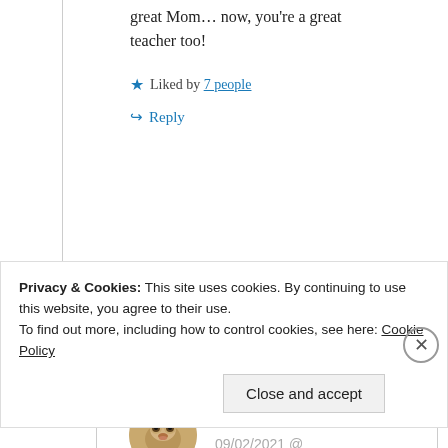great Mom… now, you're a great teacher too!
★ Liked by 7 people
↪ Reply
[Figure (photo): Circular avatar photo of user gil00 showing a meerkat or similar animal]
gil00
09/02/2021 @ 01:03 at 01:03
Privacy & Cookies: This site uses cookies. By continuing to use this website, you agree to their use. To find out more, including how to control cookies, see here: Cookie Policy
Close and accept